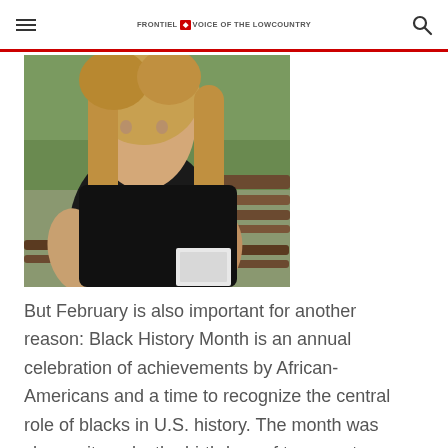FRONTIEL VOICE of the LOWCOUNTRY
[Figure (photo): A woman with blonde hair wearing a black sleeveless dress, seated on a bench outdoors with green background.]
But February is also important for another reason: Black History Month is an annual celebration of achievements by African-Americans and a time to recognize the central role of blacks in U.S. history. The month was chosen it marks the birthdays of two great